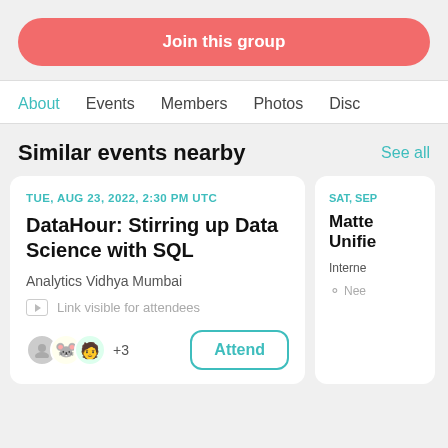Join this group
About
Events
Members
Photos
Disc
Similar events nearby
See all
TUE, AUG 23, 2022, 2:30 PM UTC
DataHour: Stirring up Data Science with SQL
Analytics Vidhya Mumbai
Link visible for attendees
+3
Attend
SAT, SEP
Matte Unifie
Interne
Nee